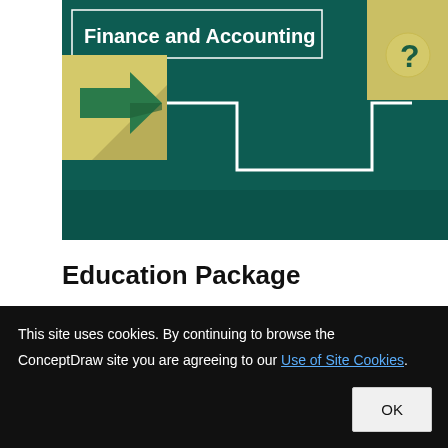[Figure (illustration): A dark teal/green banner graphic with 'Finance and Accounting' text in white bold on the left, a large green right-arrow on a yellow square, a white step-diagram outline, and a yellow question-mark token on the right side.]
Education Package
[Figure (illustration): A dark teal/green banner graphic with a large yellow circle containing a green dollar sign, connected by a white line to a yellow diamond/arrow token on the right. Finance-themed diagram.]
This site uses cookies. By continuing to browse the ConceptDraw site you are agreeing to our Use of Site Cookies.